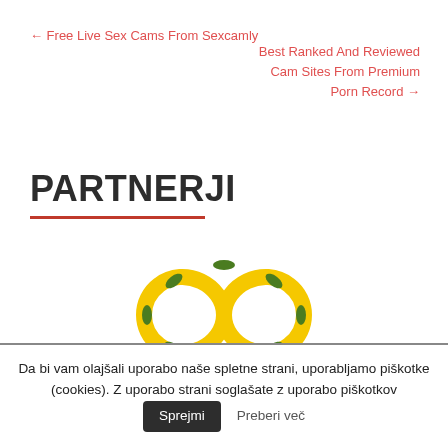← Free Live Sex Cams From Sexcamly
Best Ranked And Reviewed Cam Sites From Premium Porn Record →
PARTNERJI
[Figure (logo): Infinity symbol logo in yellow with green leaf/petal accents around the loops]
Da bi vam olajšali uporabo naše spletne strani, uporabljamo piškotke (cookies). Z uporabo strani soglašate z uporabo piškotkov  Sprejmi  Preberi več